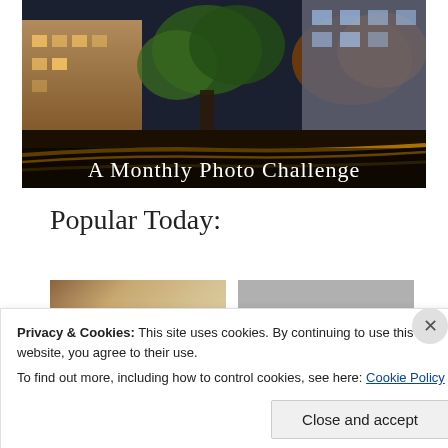[Figure (photo): A night cityscape photo showing buildings, trees with autumn foliage, and light trails from traffic. Text overlay reads 'A Monthly Photo Challenge' in white serif font.]
Popular Today:
[Figure (photo): Two thumbnail images side by side: left shows a warm-toned brown/tan textured image, right shows a grey toned image.]
Privacy & Cookies: This site uses cookies. By continuing to use this website, you agree to their use.
To find out more, including how to control cookies, see here: Cookie Policy